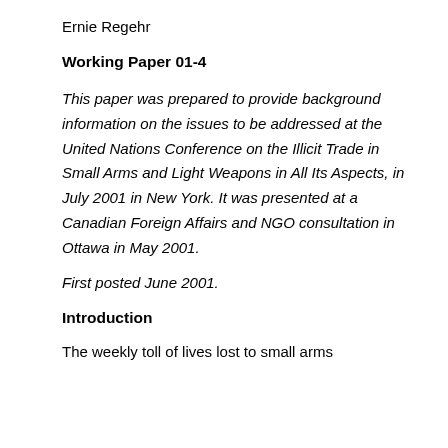Ernie Regehr
Working Paper 01-4
This paper was prepared to provide background information on the issues to be addressed at the United Nations Conference on the Illicit Trade in Small Arms and Light Weapons in All Its Aspects, in July 2001 in New York. It was presented at a Canadian Foreign Affairs and NGO consultation in Ottawa in May 2001.
First posted June 2001.
Introduction
The weekly toll of lives lost to small arms